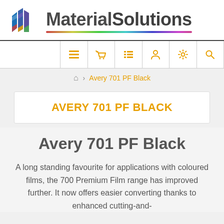[Figure (logo): MaterialSolutions logo with colorful geometric M icon and company name text with rainbow underline bar]
[Figure (other): Navigation bar with 6 orange icons: hamburger menu, shopping basket, list/filter, person, gear/settings, search magnifier]
🏠 > Avery 701 PF Black
AVERY 701 PF BLACK
Avery 701 PF Black
A long standing favourite for applications with coloured films, the 700 Premium Film range has improved further. It now offers easier converting thanks to enhanced cutting-and-